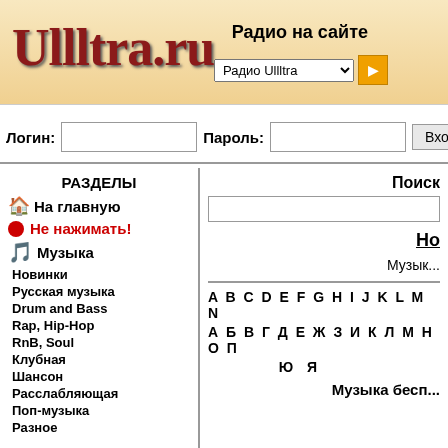Ullltra.ru — Радио на сайте
Логин: [input] Пароль: [input] Вход Ре...
РАЗДЕЛЫ
На главную
Не нажимать!
Музыка
Новинки
Русская музыка
Drum and Bass
Rap, Hip-Hop
RnB, Soul
Клубная
Шансон
Расслабляющая
Поп-музыка
Разное
Поиск
Но...
Музык...
A B C D E F G H I J K L M N
А Б В Г Д Е Ж З И К Л М Н О П
Ю Я
Музыка бесп...